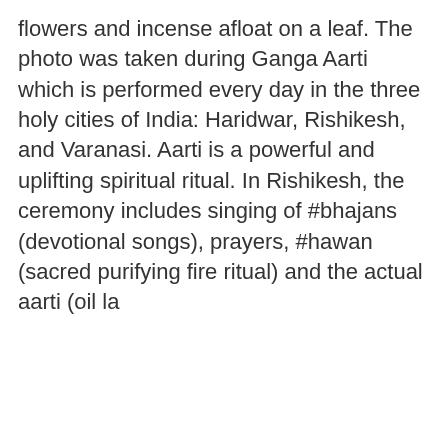flowers and incense afloat on a leaf. The photo was taken during Ganga Aarti which is performed every day in the three holy cities of India: Haridwar, Rishikesh, and Varanasi. Aarti is a powerful and uplifting spiritual ritual. In Rishikesh, the ceremony includes singing of #bhajans (devotional songs), prayers, #hawan (sacred purifying fire ritual) and the actual aarti (oil la
0   7 ♡
[Figure (photo): Misty forested hills with trees in the foreground, fog covering mountains in the background]